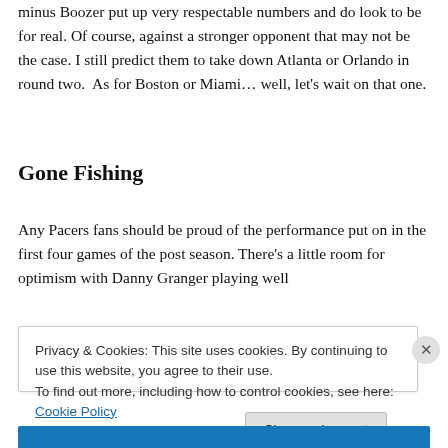minus Boozer put up very respectable numbers and do look to be for real. Of course, against a stronger opponent that may not be the case. I still predict them to take down Atlanta or Orlando in round two.  As for Boston or Miami… well, let's wait on that one.
Gone Fishing
Any Pacers fans should be proud of the performance put on in the first four games of the post season. There's a little room for optimism with Danny Granger playing well
Privacy & Cookies: This site uses cookies. By continuing to use this website, you agree to their use.
To find out more, including how to control cookies, see here: Cookie Policy
Close and accept